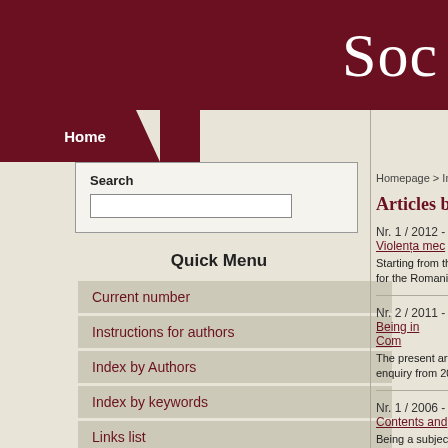Soc
Home
Search
Quick Menu
Current number
Instructions for authors
Index by Authors
Index by keywords
Links list
Social Work Archival Project
News
International Advisory Board
The editorial team warmly welcome Mrs. Professor Lena Dominelli, and Mr. Professor Malcolm Payne, two prominent internationally social work personalities who have kindly accepted to be part of our journal's International Advisory Board starting with issue no.
Homepage > Index by Autho
Articles by: And
Nr. 1 / 2012 - Violența mec
Starting from the observati for the Romanian children.
Nr. 2 / 2011 - Being in Com
The present article intends enquiry from 2010. At this
Nr. 1 / 2006 - Contents and
Being a subject of public a either is about the physical
Inapoi